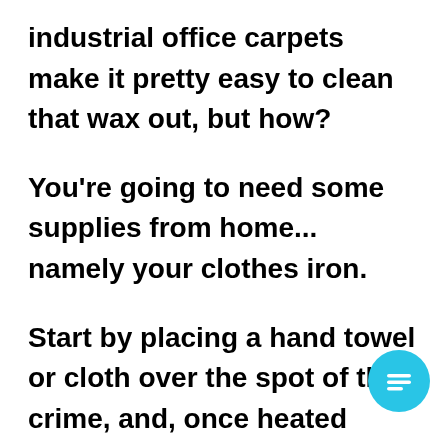industrial office carpets make it pretty easy to clean that wax out, but how?

You're going to need some supplies from home... namely your clothes iron.

Start by placing a hand towel or cloth over the spot of the crime, and, once heated thoroughly, place the clothes iron over the towel above the wax spot. We also suggest using a white cloth or towel, as colored ones may